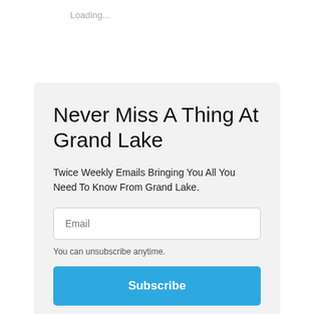Loading...
Never Miss A Thing At Grand Lake
Twice Weekly Emails Bringing You All You Need To Know From Grand Lake.
Email
You can unsubscribe anytime.
Subscribe